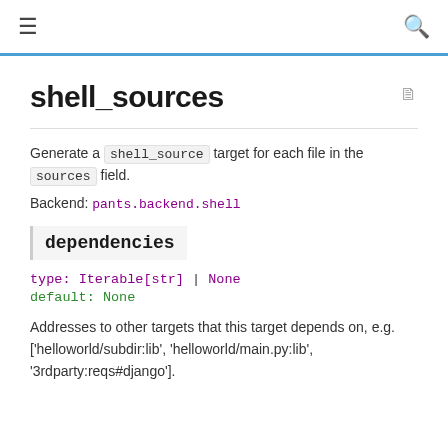≡  🔍
shell_sources
Generate a shell_source target for each file in the sources field.
Backend: pants.backend.shell
dependencies
type: Iterable[str] | None
default: None
Addresses to other targets that this target depends on, e.g. ['helloworld/subdir:lib', 'helloworld/main.py:lib', '3rdparty:reqs#django'].